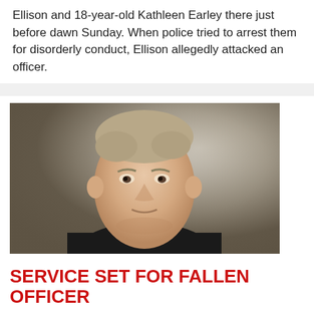Ellison and 18-year-old Kathleen Earley there just before dawn Sunday. When police tried to arrest them for disorderly conduct, Ellison allegedly attacked an officer.
[Figure (photo): Headshot photo of a middle-aged man with short gray-brown hair wearing a dark shirt, against a light background]
SERVICE SET FOR FALLEN OFFICER
Posted About Six Years Ago by Jeff Lane
(Connersville, IN)--The city of Connersville is